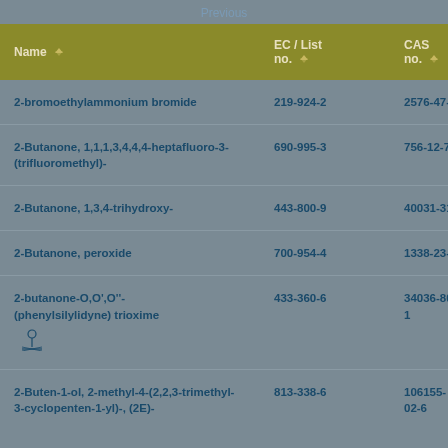Previous
| Name | EC / List no. | CAS no. |
| --- | --- | --- |
| 2-bromoethylammonium bromide | 219-924-2 | 2576-47-8 |
| 2-Butanone, 1,1,1,3,4,4,4-heptafluoro-3-(trifluoromethyl)- | 690-995-3 | 756-12-7 |
| 2-Butanone, 1,3,4-trihydroxy- | 443-800-9 | 40031-31-0 |
| 2-Butanone, peroxide | 700-954-4 | 1338-23-4 |
| 2-butanone-O,O',O''-( phenylsilylidyne)trioxime [structure icon] | 433-360-6 | 34036-80-1 |
| 2-Buten-1-ol, 2-methyl-4-(2,2,3-trimethyl-3-cyclopenten-1-yl)-, (2E)- | 813-338-6 | 106155-02-6 |